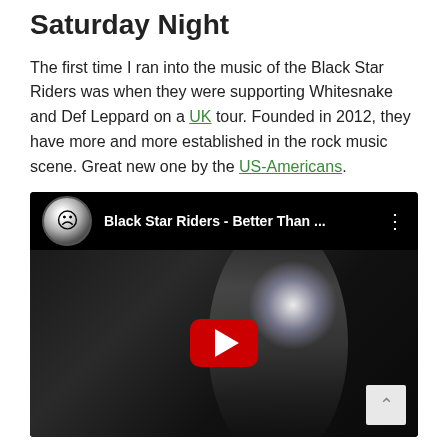Saturday Night
The first time I ran into the music of the Black Star Riders was when they were supporting Whitesnake and Def Leppard on a UK tour. Founded in 2012, they have more and more established in the rock music scene. Great new one by the US-Americans.
[Figure (screenshot): Embedded YouTube video player showing 'Black Star Riders - Better Than ...' with a thumbnail of a singer performing at a dark concert with stage lighting. A red YouTube play button is visible in the center of the thumbnail.]